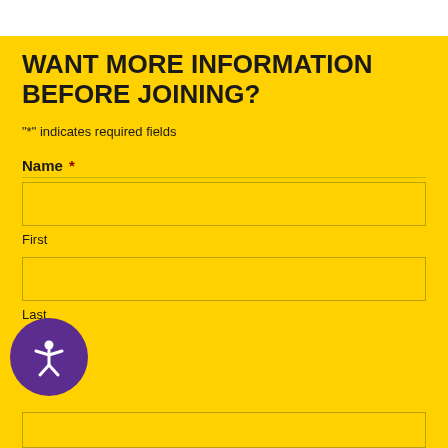WANT MORE INFORMATION BEFORE JOINING?
"*" indicates required fields
Name *
First
Last
[Figure (illustration): Accessibility icon button — purple circle with white stick figure person with arms extended]
(Last name input field)